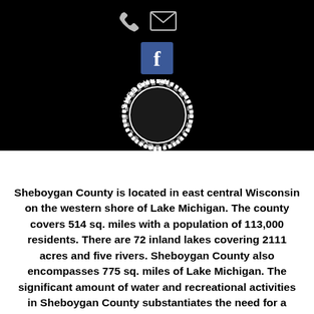[Figure (logo): Black header bar with phone icon, email/envelope icon, and Facebook blue square icon with 'f' letter. Below, a circular Sheboygan Co. logo/seal in black and white with rope border and text 'SHEBOYGAN CO.' on a black background.]
Sheboygan County is located in east central Wisconsin on the western shore of Lake Michigan. The county covers 514 sq. miles with a population of 113,000 residents. There are 72 inland lakes covering 2111 acres and five rivers. Sheboygan County also encompasses 775 sq. miles of Lake Michigan. The significant amount of water and recreational activities in Sheboygan County substantiates the need for a quick response dive